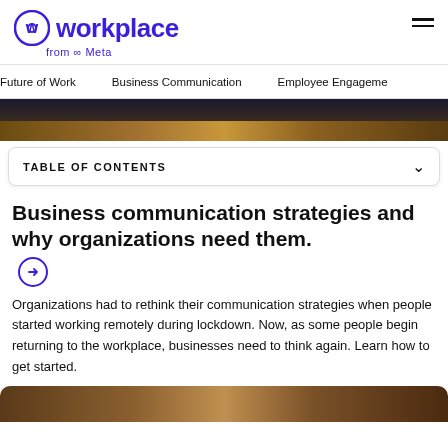[Figure (logo): Workplace from Meta logo — circular W icon in indigo/purple, 'workplace' text in large bold indigo, 'from Meta' in smaller indigo below]
Future of Work   Business Communication   Employee Engagement
[Figure (photo): Photo of a wooden desk surface with a tablet/device, partial view cropped at top]
TABLE OF CONTENTS
Business communication strategies and why organizations need them. →
Organizations had to rethink their communication strategies when people started working remotely during lockdown. Now, as some people begin returning to the workplace, businesses need to think again. Learn how to get started.
[Figure (photo): Photo strip at bottom — person in blue clothing, partial view]